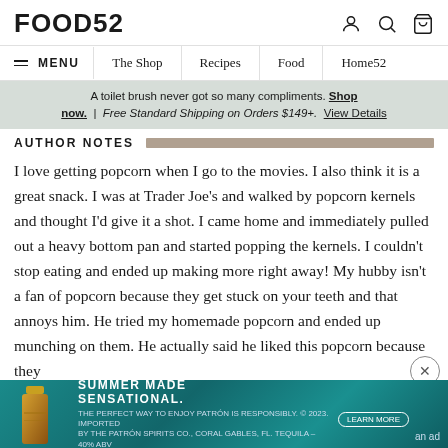FOOD52
≡ MENU | The Shop | Recipes | Food | Home52
A toilet brush never got so many compliments. Shop now. | Free Standard Shipping on Orders $149+. View Details
AUTHOR NOTES
I love getting popcorn when I go to the movies. I also think it is a great snack. I was at Trader Joe's and walked by popcorn kernels and thought I'd give it a shot. I came home and immediately pulled out a heavy bottom pan and started popping the kernels. I couldn't stop eating and ended up making more right away! My hubby isn't a fan of popcorn because they get stuck on your teeth and that annoys him. He tried my homemade popcorn and ended up munching on them. He actually said he liked this popcorn because they
[Figure (advertisement): Patron tequila summer ad with teal/teal background, bottle image, 'Summer Made Sensational' text, Learn More button, and 'an ad' label]